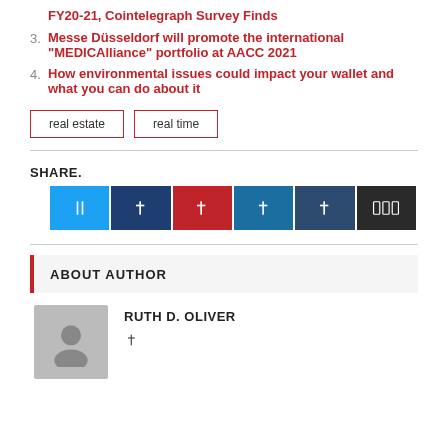FY20-21, Cointelegraph Survey Finds
3. Messe Düsseldorf will promote the international “MEDICAlliance” portfolio at AACC 2021
4. How environmental issues could impact your wallet and what you can do about it
real estate   real time
SHARE.
ABOUT AUTHOR
RUTH D. OLIVER